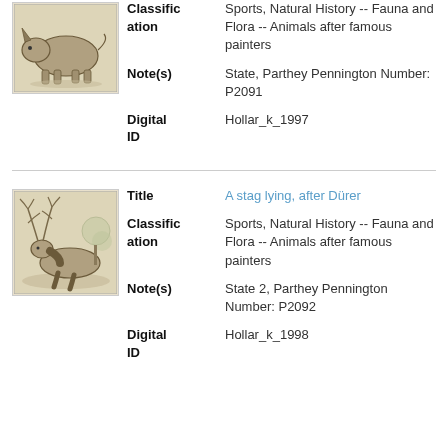[Figure (illustration): A rhinoceros animal illustration, old engraving style]
Classification: Sports, Natural History -- Fauna and Flora -- Animals after famous painters
Note(s): State, Parthey Pennington Number: P2091
Digital ID: Hollar_k_1997
[Figure (illustration): A stag lying, engraving after Dürer]
Title: A stag lying, after Dürer
Classification: Sports, Natural History -- Fauna and Flora -- Animals after famous painters
Note(s): State 2, Parthey Pennington Number: P2092
Digital ID: Hollar_k_1998